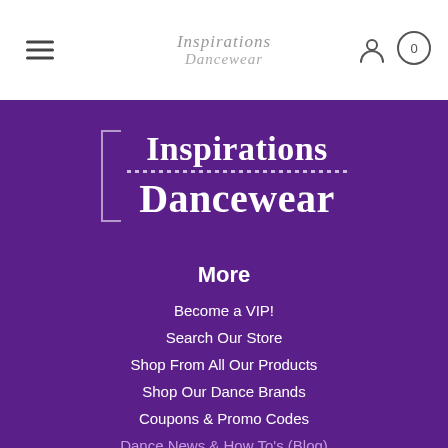[Figure (logo): Inspirations Dancewear logo in header — italic serif text, two lines: 'Inspirations' and 'Dancewear']
[Figure (logo): Large Inspirations Dancewear logo on purple background with bracket decoration and dotted underline between the two text lines]
More
Become a VIP!
Search Our Store
Shop From All Our Products
Shop Our Dance Brands
Coupons & Promo Codes
Dance News & How To's (Blog)